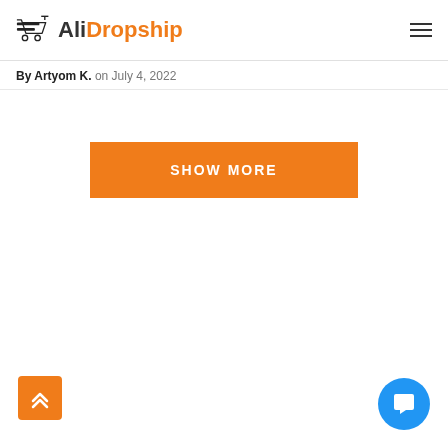AliDropship
By Artyom K. on July 4, 2022
[Figure (other): Orange 'SHOW MORE' button centered on the page]
[Figure (other): Back to top button (orange, chevron up) in bottom left corner]
[Figure (other): Live chat button (blue circle with chat icon) in bottom right corner]